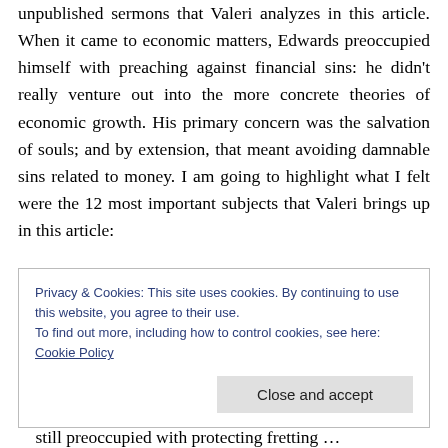unpublished sermons that Valeri analyzes in this article. When it came to economic matters, Edwards preoccupied himself with preaching against financial sins: he didn't really venture out into the more concrete theories of economic growth. His primary concern was the salvation of souls; and by extension, that meant avoiding damnable sins related to money. I am going to highlight what I felt were the 12 most important subjects that Valeri brings up in this article:
Privacy & Cookies: This site uses cookies. By continuing to use this website, you agree to their use. To find out more, including how to control cookies, see here: Cookie Policy
Close and accept
…still preoccupied with protecting fretting …